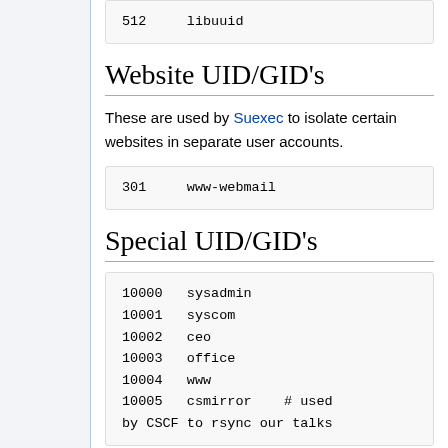| 512 | libuuid |
Website UID/GID's
These are used by Suexec to isolate certain websites in separate user accounts.
| 301 | www-webmail |
Special UID/GID's
| 10000 | sysadmin |
| 10001 | syscom |
| 10002 | ceo |
| 10003 | office |
| 10004 | www |
| 10005 | csmirror    # used |
| by CSCF to rsync our talks |  |